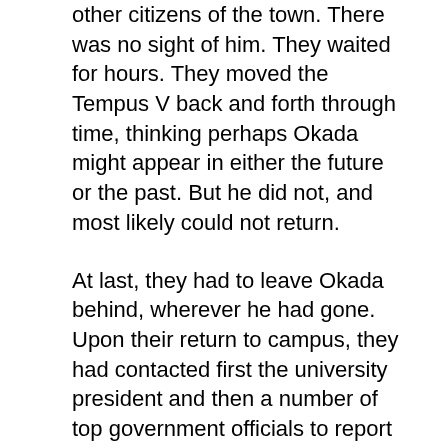other citizens of the town. There was no sight of him. They waited for hours. They moved the Tempus V back and forth through time, thinking perhaps Okada might appear in either the future or the past. But he did not, and most likely could not return.
At last, they had to leave Okada behind, wherever he had gone. Upon their return to campus, they had contacted first the university president and then a number of top government officials to report and explain their colleague's sudden disappearance. All parties concerned had agreed to classify their findings as top-secret and move their research to the Pentagon for security reasons. Under the guise of an alternate energy grant, the two scientists continued to secretly observe and record both mundane and pivotal moments in American history.
It was not until three years later, upon the death of President Ophelia Smithe that Lynch, Pillay, and their highly guarded research were violently thrust into the